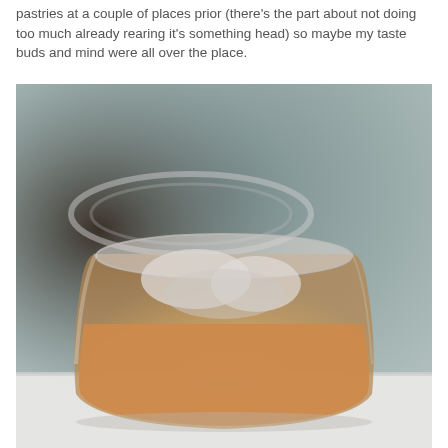pastries at a couple of places prior (there's the part about not doing too much already rearing it's something head) so maybe my taste buds and mind were all over the place.
[Figure (photo): A plastic clear cup with an iced orange/amber drink, sitting on a white surface with a blurred background showing another clear plastic lid.]